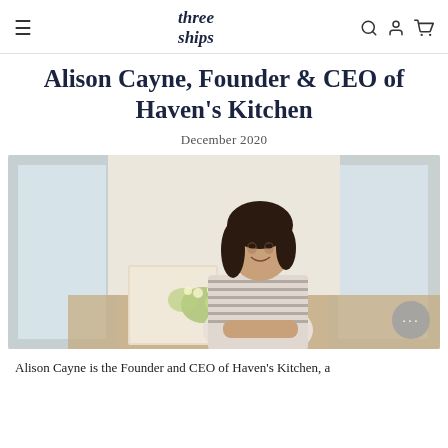three ships
Alison Cayne, Founder & CEO of Haven's Kitchen
December 2020
[Figure (photo): Alison Cayne, smiling woman with dark hair wearing a striped long-sleeve shirt, seated at a wooden table in a bright kitchen space with flowers and large windows]
Alison Cayne is the Founder and CEO of Haven's Kitchen, a